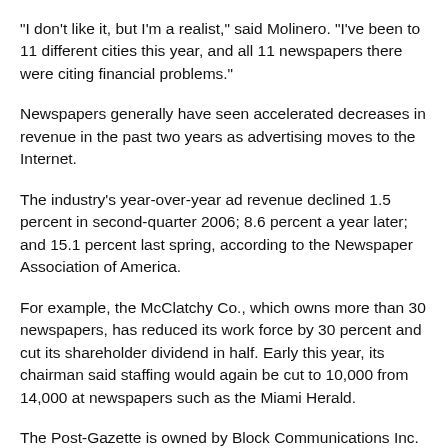"I don't like it, but I'm a realist," said Molinero. "I've been to 11 different cities this year, and all 11 newspapers there were citing financial problems."
Newspapers generally have seen accelerated decreases in revenue in the past two years as advertising moves to the Internet.
The industry's year-over-year ad revenue declined 1.5 percent in second-quarter 2006; 8.6 percent a year later; and 15.1 percent last spring, according to the Newspaper Association of America.
For example, the McClatchy Co., which owns more than 30 newspapers, has reduced its work force by 30 percent and cut its shareholder dividend in half. Early this year, its chairman said staffing would again be cut to 10,000 from 14,000 at newspapers such as the Miami Herald.
The Post-Gazette is owned by Block Communications Inc. of Toledo, Ohio, which also owns The Blade there. Block said it